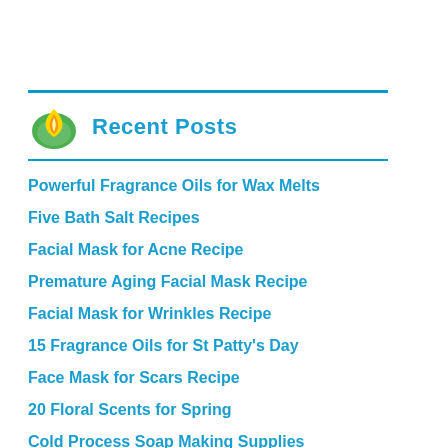Recent Posts
Powerful Fragrance Oils for Wax Melts
Five Bath Salt Recipes
Facial Mask for Acne Recipe
Premature Aging Facial Mask Recipe
Facial Mask for Wrinkles Recipe
15 Fragrance Oils for St Patty's Day
Face Mask for Scars Recipe
20 Floral Scents for Spring
Cold Process Soap Making Supplies
Is Shea Butter Good for Soap Making?